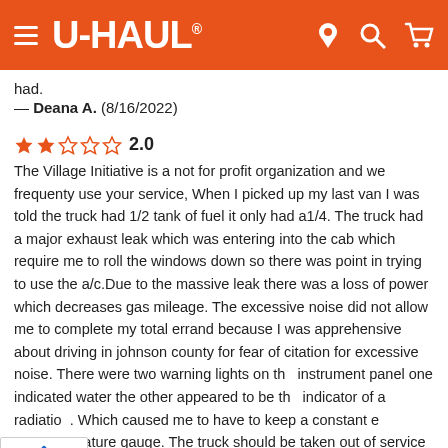U-HAUL
had.
— Deana A.  (8/16/2022)
2.0
The Village Initiative is a not for profit organization and we frequenty use your service, When I picked up my last van I was told the truck had 1/2 tank of fuel it only had a1/4. The truck had a major exhaust leak which was entering into the cab which require me to roll the windows down so there was point in trying to use the a/c.Due to the massive leak there was a loss of power which decreases gas mileage. The excessive noise did not allow me to complete my total errand because I was apprehensive about driving in johnson county for fear of citation for excessive noise. There were two warning lights on the instrument panel one indicated water the other appeared to be the indicator of a radiator. Which caused me to have to keep a constant eye on the temperature gauge. The truck should be taken out of service until these problems are resolved. This is not the norm for this U-Hual